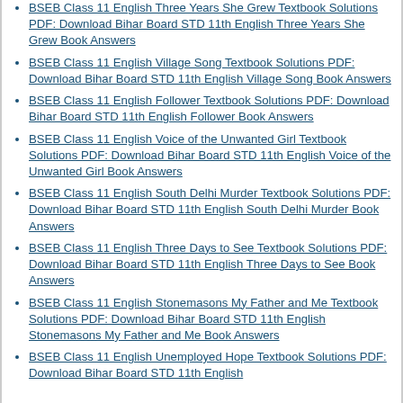BSEB Class 11 English Three Years She Grew Textbook Solutions PDF: Download Bihar Board STD 11th English Three Years She Grew Book Answers
BSEB Class 11 English Village Song Textbook Solutions PDF: Download Bihar Board STD 11th English Village Song Book Answers
BSEB Class 11 English Follower Textbook Solutions PDF: Download Bihar Board STD 11th English Follower Book Answers
BSEB Class 11 English Voice of the Unwanted Girl Textbook Solutions PDF: Download Bihar Board STD 11th English Voice of the Unwanted Girl Book Answers
BSEB Class 11 English South Delhi Murder Textbook Solutions PDF: Download Bihar Board STD 11th English South Delhi Murder Book Answers
BSEB Class 11 English Three Days to See Textbook Solutions PDF: Download Bihar Board STD 11th English Three Days to See Book Answers
BSEB Class 11 English Stonemasons My Father and Me Textbook Solutions PDF: Download Bihar Board STD 11th English Stonemasons My Father and Me Book Answers
BSEB Class 11 English Unemployed Hope Textbook Solutions PDF: Download Bihar Board STD 11th English